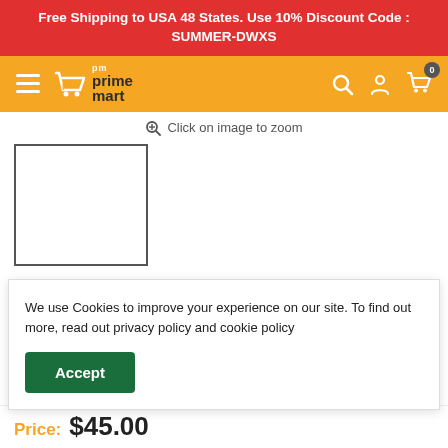Free Shipping to USA 48 States. Use 10% Discount Code : SUMMER-DWXS
[Figure (logo): Prime Mart logo with hamburger menu, cart, search, account and cart icons on an orange navigation bar]
Click on image to zoom
[Figure (photo): White empty product thumbnail box with dark border]
Barrel Type Bamboo Foldable Laundry Basket
We use Cookies to improve your experience on our site. To find out more, read out privacy policy and cookie policy
Accept
Price: $45.00